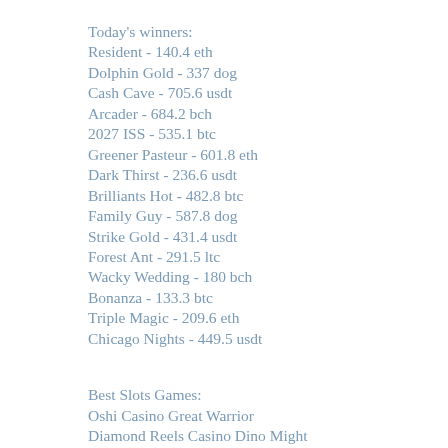Today's winners:
Resident - 140.4 eth
Dolphin Gold - 337 dog
Cash Cave - 705.6 usdt
Arcader - 684.2 bch
2027 ISS - 535.1 btc
Greener Pasteur - 601.8 eth
Dark Thirst - 236.6 usdt
Brilliants Hot - 482.8 btc
Family Guy - 587.8 dog
Strike Gold - 431.4 usdt
Forest Ant - 291.5 ltc
Wacky Wedding - 180 bch
Bonanza - 133.3 btc
Triple Magic - 209.6 eth
Chicago Nights - 449.5 usdt
Best Slots Games:
Oshi Casino Great Warrior
Diamond Reels Casino Dino Might